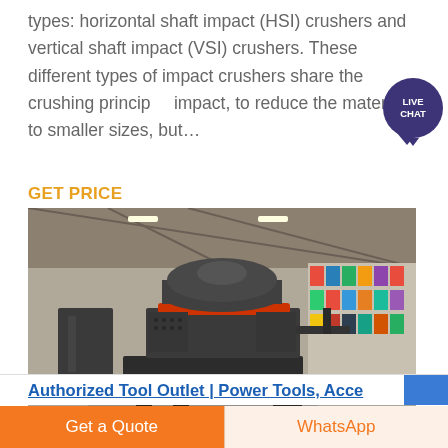types: horizontal shaft impact (HSI) crushers and vertical shaft impact (VSI) crushers. These different types of impact crushers share the crushing principle, impact, to reduce the material to smaller sizes, but...
GET PRICE
[Figure (photo): Industrial VSI (vertical shaft impact) crusher machine in a large warehouse/factory setting. The crusher is a large dark grey/black metallic machine with a cylindrical top section and a red ring accent, sitting on a metal frame base surrounded by crushed stone/gravel on the floor. International flags are visible in the background.]
Authorized Tool Outlet | Power Tools, Acce...
Get a Quote
WhatsApp